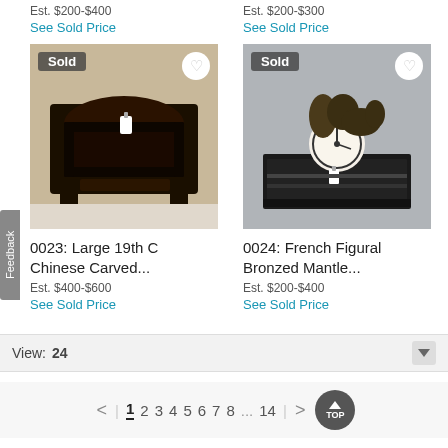Est. $200-$400
See Sold Price
Est. $200-$300
See Sold Price
[Figure (photo): Antique large 19th C Chinese carved black wooden table with ornate carvings and claw feet, tagged as Sold]
[Figure (photo): French Figural Bronzed Mantle clock with dog figure on top, tagged as Sold]
0023: Large 19th C Chinese Carved...
Est. $400-$600
See Sold Price
0024: French Figural Bronzed Mantle...
Est. $200-$400
See Sold Price
View: 24
< | 1 2 3 4 5 6 7 8 ... 14 | > TOP